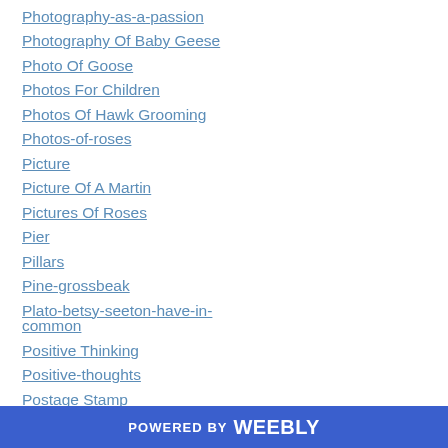Photography-as-a-passion
Photography Of Baby Geese
Photo Of Goose
Photos For Children
Photos Of Hawk Grooming
Photos-of-roses
Picture
Picture Of A Martin
Pictures Of Roses
Pier
Pillars
Pine-grossbeak
Plato-betsy-seeton-have-in-common
Positive Thinking
Positive-thoughts
Postage Stamp
POWERED BY weebly